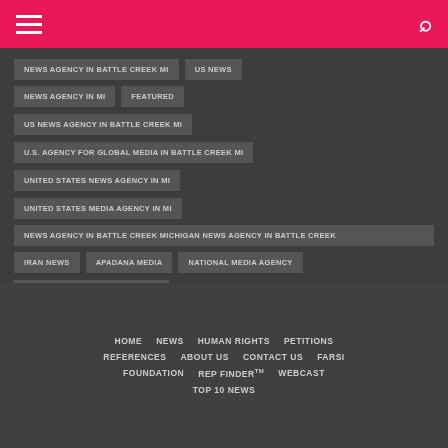Menu | Search
NEWS AGENCY IN BATTLE CREEK MI
US NEWS
NEWS AGENCY IN MI
FEATURED
US NEWS AGENCY IN BATTLE CREEK MI
U.S. AGENCY FOR GLOBAL MEDIA IN BATTLE CREEK MI
UNITED STATES NEWS AGENCY IN MI
UNITED STATES MEDIA AGENCY IN MI
NEWS AGENCY IN BATTLE CREEK MICHIGAN NEWS AGENCY IN BATTLE CREEK
IRAN NEWS
APADANA MEDIA
NATIONAL MEDIA AGENCY
U.S. AGENCY FOR GLOBAL MEDIA
HOME | NEWS | HUMAN RIGHTS | PETITIONS | REFERENCES | ABOUT US | CONTACT US | FARSI | FOUNDATION | REP FINDER™ | WEBCAST | TOP 10 NEWS